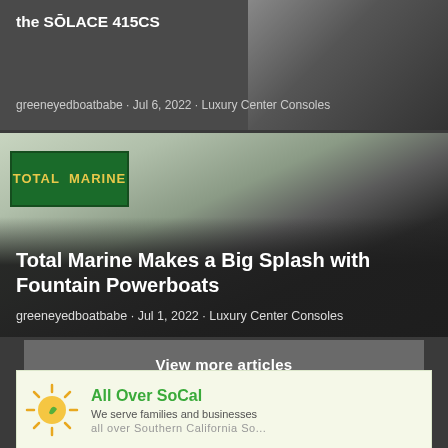the SŌLACE 415CS
greeneyedboatbabe · Jul 6, 2022 · Luxury Center Consoles
[Figure (photo): Boat at a marina, top card partially visible]
[Figure (photo): Photo of a boat at Total Marine dealership showing exterior with multiple outboard motors and a hardtop]
Total Marine Makes a Big Splash with Fountain Powerboats
greeneyedboatbabe · Jul 1, 2022 · Luxury Center Consoles
View more articles
[Figure (advertisement): Palomar advertisement banner with sun logo, reading All Over SoCal - We serve families and businesses all over Southern California]
All Over SoCal
We serve families and businesses
all over Southern California...